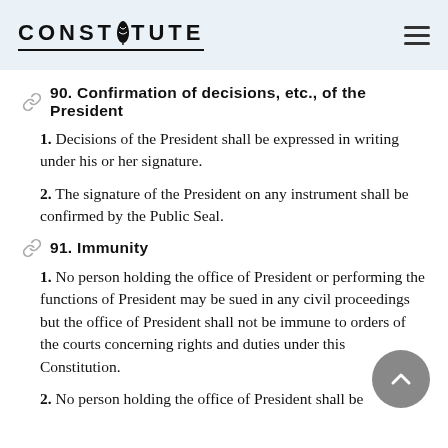CONSTITUTE
90. Confirmation of decisions, etc., of the President
1. Decisions of the President shall be expressed in writing under his or her signature.
2. The signature of the President on any instrument shall be confirmed by the Public Seal.
91. Immunity
1. No person holding the office of President or performing the functions of President may be sued in any civil proceedings but the office of President shall not be immune to orders of the courts concerning rights and duties under this Constitution.
2. No person holding the office of President shall be